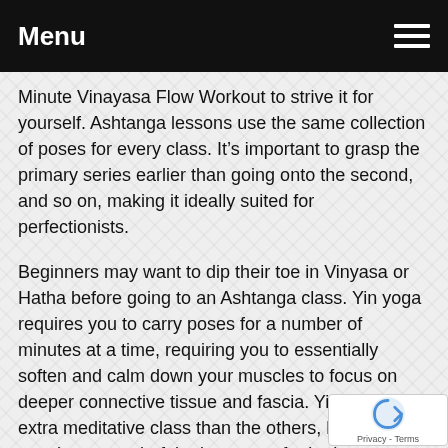Menu
Minute Vinayasa Flow Workout to strive it for yourself. Ashtanga lessons use the same collection of poses for every class. It’s important to grasp the primary series earlier than going onto the second, and so on, making it ideally suited for perfectionists.
Beginners may want to dip their toe in Vinyasa or Hatha before going to an Ashtanga class. Yin yoga requires you to carry poses for a number of minutes at a time, requiring you to essentially soften and calm down your muscles to focus on deeper connective tissue and fascia. Yin yoga is a extra meditative class than the others, however it may have wonderful advantages for both your muscles and your mind. A Kundalini yoga class is a bit completely different, incorporating intense breath work and even chanting meditation. The idea of kundalini is to open up...